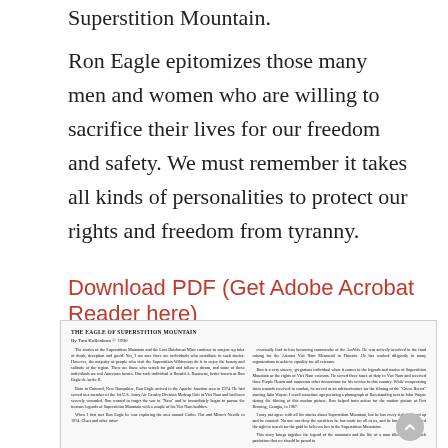Superstition Mountain.
Ron Eagle epitomizes those many men and women who are willing to sacrifice their lives for our freedom and safety. We must remember it takes all kinds of personalities to protect our rights and freedom from tyranny.
Download PDF (Get Adobe Acrobat Reader here)
[Figure (screenshot): A scanned PDF document page showing 'THE EAGLE OF SUPERSTITION MOUNTAIN' by Tom Kollenborn © 1990, with two columns of small text describing Ron Eagle's involvement with Superstition Mountain legends and Viet Nam service.]